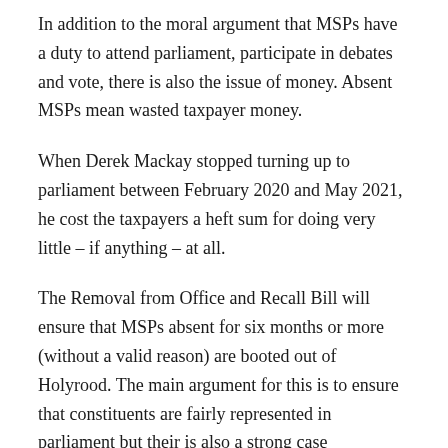In addition to the moral argument that MSPs have a duty to attend parliament, participate in debates and vote, there is also the issue of money. Absent MSPs mean wasted taxpayer money.
When Derek Mackay stopped turning up to parliament between February 2020 and May 2021, he cost the taxpayers a heft sum for doing very little – if anything – at all.
The Removal from Office and Recall Bill will ensure that MSPs absent for six months or more (without a valid reason) are booted out of Holyrood. The main argument for this is to ensure that constituents are fairly represented in parliament but their is also a strong case